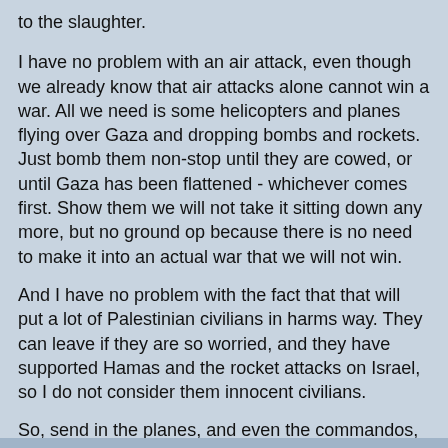to the slaughter.
I have no problem with an air attack, even though we already know that air attacks alone cannot win a war. All we need is some helicopters and planes flying over Gaza and dropping bombs and rockets. Just bomb them non-stop until they are cowed, or until Gaza has been flattened - whichever comes first. Show them we will not take it sitting down any more, but no ground op because there is no need to make it into an actual war that we will not win.
And I have no problem with the fact that that will put a lot of Palestinian civilians in harms way. They can leave if they are so worried, and they have supported Hamas and the rocket attacks on Israel, so I do not consider them innocent civilians.
So, send in the planes, and even the commandos, but not the infantry.
Rafi G. at 2:24 PM    9 comments: